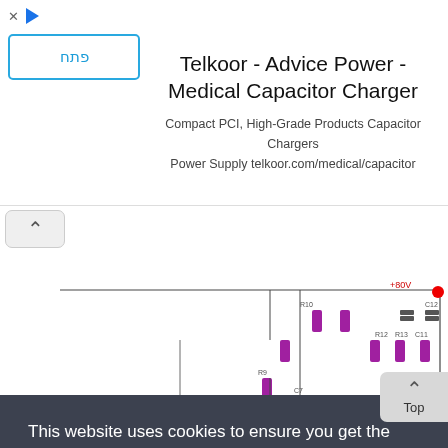[Figure (other): Advertisement banner for Telkoor - Advice Power - Medical Capacitor Charger. Left side shows a close/play icon row and a button with Hebrew text 'פתח' (Open) in a blue border box. Right side shows the title 'Telkoor - Advice Power - Medical Capacitor Charger' and subtitle 'Compact PCI, High-Grade Products Capacitor Chargers Power Supply telkoor.com/medical/capacitor']
[Figure (circuit-diagram): Complex electronic circuit diagram with multiple transistors (circles with arrows), purple rectangular resistors/components, capacitors, diodes, and wiring. Components include transistors labeled T1-T6, various resistors and capacitors, a speaker/buzzer (blue), and power connections labeled +80V and 0V. The background has a faint 'NEXTOR' watermark.]
This website uses cookies to ensure you get the best experience on our website.  Learn more
Got it!
ng
wer of
to an
t be
protected against short circuits. The power....